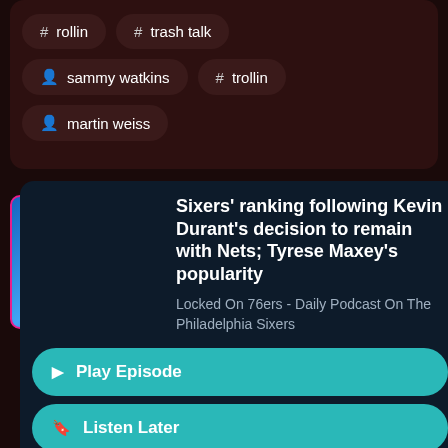# rollin
# trash talk
sammy watkins
# trollin
martin weiss
Sixers' ranking following Kevin Durant's decision to remain with Nets; Tyrese Maxey's popularity
Locked On 76ers - Daily Podcast On The Philadelphia Sixers
Play Episode
Listen Later
Aug 24, 2022   27:13